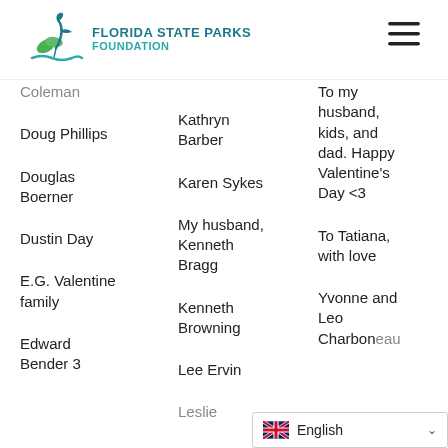FLORIDA STATE PARKS FOUNDATION
Coleman
Doug Phillips
Douglas Boerner
Dustin Day
E.G. Valentine family
Edward Bender 3
Kathryn Barber
Karen Sykes
My husband, Kenneth Bragg
Kenneth Browning
Lee Ervin
Leslie
To my husband, kids, and dad. Happy Valentine's Day <3
To Tatiana, with love
Yvonne and Leo Charboneau